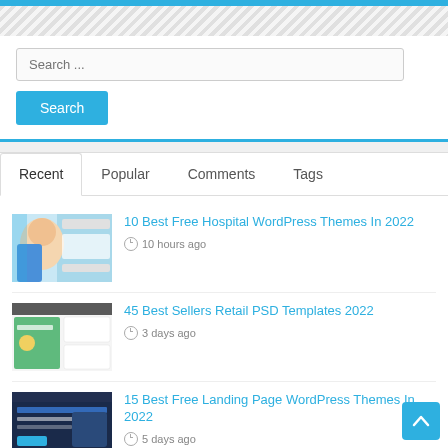[Figure (screenshot): Blue top navigation bar]
[Figure (screenshot): Diagonal striped gray/white background pattern]
Search ...
Search
Recent   Popular   Comments   Tags
[Figure (photo): Dental/hospital themed image showing a patient at a dentist]
10 Best Free Hospital WordPress Themes In 2022
10 hours ago
[Figure (screenshot): Retail/Organic themed website screenshot]
45 Best Sellers Retail PSD Templates 2022
3 days ago
[Figure (screenshot): Dark themed landing page for an app]
15 Best Free Landing Page WordPress Themes In 2022
5 days ago